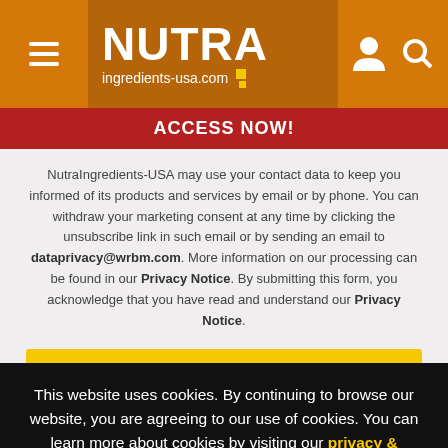NUTRA ingredients-usa.com
ACCESS NOW!
NutraIngredients-USA may use your contact data to keep you informed of its products and services by email or by phone. You can withdraw your marketing consent at any time by clicking the unsubscribe link in such email or by sending an email to dataprivacy@wrbm.com. More information on our processing can be found in our Privacy Notice. By submitting this form, you acknowledge that you have read and understand our Privacy Notice.
This website uses cookies. By continuing to browse our website, you are agreeing to our use of cookies. You can learn more about cookies by visiting our privacy & cookies policy page.